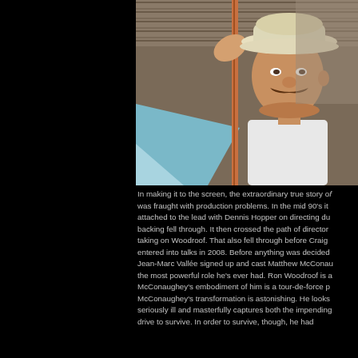[Figure (photo): A man wearing a white cowboy hat and white t-shirt, holding onto a pole or bar, photographed against a brick wall background with light blue geometric shapes. The man has a mustache and is looking to the side. Appears to be a movie still.]
In making it to the screen, the extraordinary true story of was fraught with production problems. In the mid 90's it attached to the lead with Dennis Hopper on directing du backing fell through. It then crossed the path of director taking on Woodroof. That also fell through before Craig entered into talks in 2008. Before anything was decided Jean-Marc Vallée signed up and cast Matthew McConau the most powerful role he's ever had. Ron Woodroof is a McConaughey's embodiment of him is a tour-de-force p McConaughey's transformation is astonishing. He looks seriously ill and masterfully captures both the impending drive to survive. In order to survive, though, he had